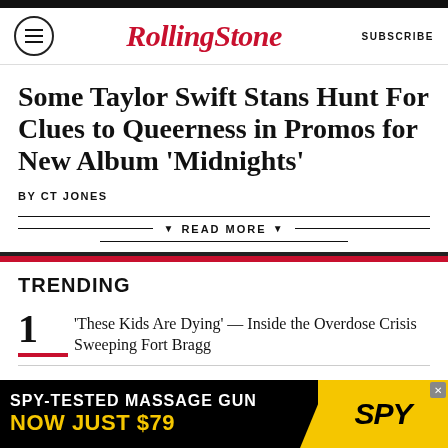RollingStone | SUBSCRIBE
Some Taylor Swift Stans Hunt For Clues to Queerness in Promos for New Album ‘Midnights’
BY CT JONES
READ MORE
TRENDING
1 'These Kids Are Dying' — Inside the Overdose Crisis Sweeping Fort Bragg
[Figure (infographic): Advertisement banner: SPY-TESTED MASSAGE GUN NOW JUST $79 with SPY logo on yellow background]